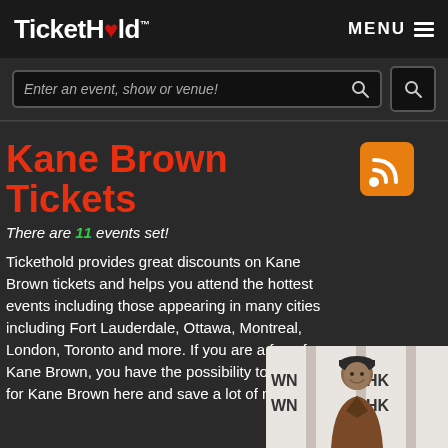[Figure (logo): TicketHold logo with red heart replacing the 'o', white text on dark background, with TM superscript]
MENU ≡
Enter an event, show or venue!
Kane Brown Tickets
[Figure (illustration): Orange RSS feed icon square with rounded corners and white RSS signal symbol]
There are 11 events set!
Tickethold provides great discounts on Kane Brown tickets and helps you attend the hottest events including those appearing in many cities including Fort Lauderdale, Ottawa, Montreal, London, Toronto and more. If you are a fan of Kane Brown, you have the possibility to get tickets for Kane Brown here and save a lot of money.
[Figure (photo): Photo of Kane Brown smiling, wearing a cap and brown jacket, in front of a backdrop with logos]